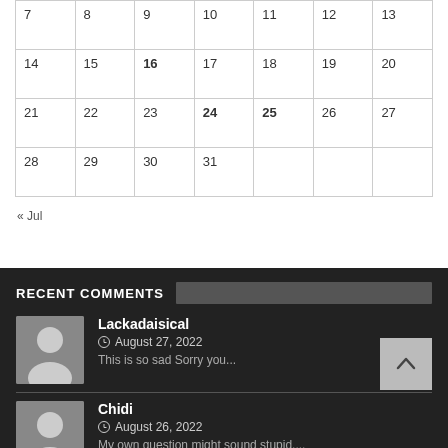|  |  |  |  |  |  |  |
| --- | --- | --- | --- | --- | --- | --- |
| 7 | 8 | 9 | 10 | 11 | 12 | 13 |
| 14 | 15 | 16 | 17 | 18 | 19 | 20 |
| 21 | 22 | 23 | 24 | 25 | 26 | 27 |
| 28 | 29 | 30 | 31 |  |  |  |
« Jul
RECENT COMMENTS
Lackadaisical
August 27, 2022
This is so sad Sorry you...
Chidi
August 26, 2022
My own question might sound stupid....